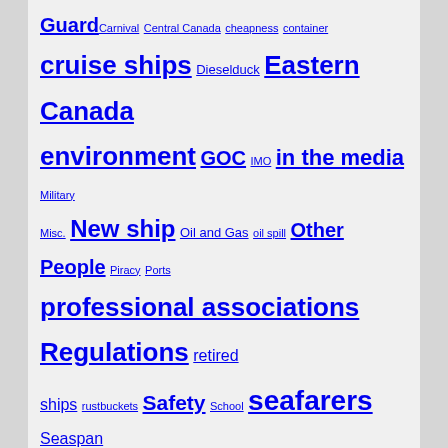Guard Carnival Central Canada cheapness container cruise ships Dieselduck Eastern Canada environment GOC IMO in the media Military Misc. New ship Oil and Gas oil spill Other People Piracy Ports professional associations Regulations retired ships rustbuckets Safety School seafarers Seaspan Ships shipyard technology towboats Training Transport Canada Tug USA USCG west coast
Past Entries
Select Month
About
The Monitor is the blog area of Martin's Marine Engineering